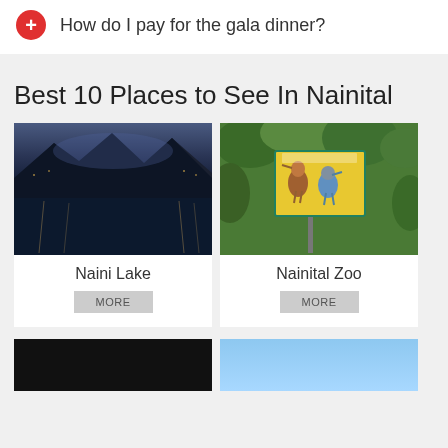How do I pay for the gala dinner?
Best 10 Places to See In Nainital
[Figure (photo): Photo of Naini Lake at dusk with mountain reflections]
Naini Lake
[Figure (photo): Photo of a colorful bird illustration sign at Nainital Zoo with green foliage background]
Nainital Zoo
[Figure (photo): Dark nighttime photo (bottom left)]
[Figure (photo): Blue sky photo (bottom right)]